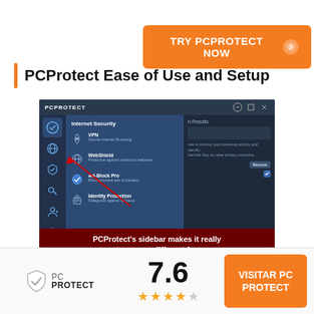[Figure (screenshot): Orange CTA button: TRY PCPROTECT NOW with arrow icon]
PCProtect Ease of Use and Setup
[Figure (screenshot): PCProtect application UI showing sidebar with icons and Internet Security menu with VPN, WebShield, Ad-Block Pro, Identity Protection options. Red arrow pointing to sidebar. Caption overlay: PCProtect's sidebar makes it really easy to access different features]
PCProtect's sidebar makes it really easy to access different features
[Figure (logo): PCProtect logo with shield checkmark icon]
7.6
[Figure (other): 4 filled stars and 1 empty star rating]
[Figure (other): Orange button: VISITAR PC PROTECT]